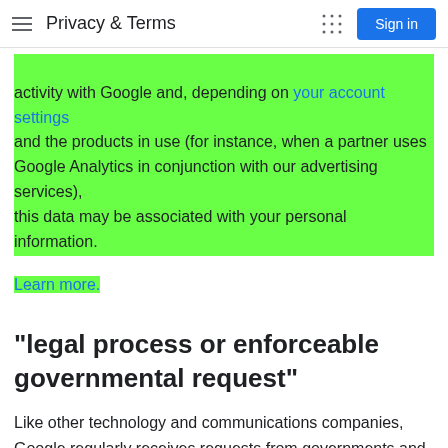Privacy & Terms
activity with Google and, depending on your account settings and the products in use (for instance, when a partner uses Google Analytics in conjunction with our advertising services), this data may be associated with your personal information.
Learn more.
"legal process or enforceable governmental request"
Like other technology and communications companies, Google regularly receives requests from governments and courts around the world to hand over user data.